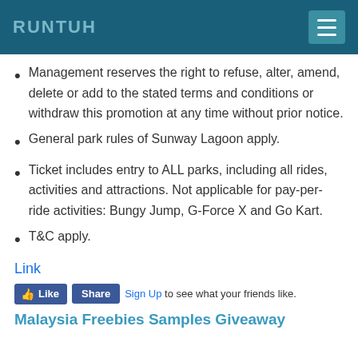RUNTUH
Management reserves the right to refuse, alter, amend, delete or add to the stated terms and conditions or withdraw this promotion at any time without prior notice.
General park rules of Sunway Lagoon apply.
Ticket includes entry to ALL parks, including all rides, activities and attractions. Not applicable for pay-per-ride activities: Bungy Jump, G-Force X and Go Kart.
T&C apply.
Link
Like  Share  Sign Up to see what your friends like.
Malaysia Freebies Samples Giveaway